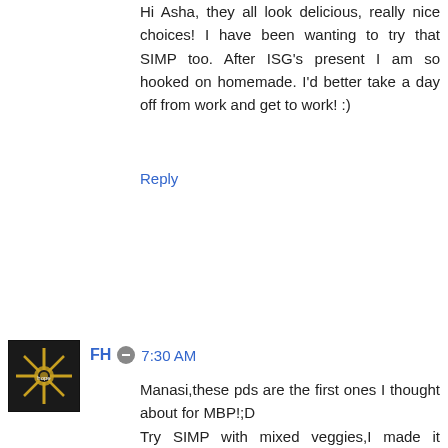Hi Asha, they all look delicious, really nice choices! I have been wanting to try that SIMP too. After ISG's present I am so hooked on homemade. I'd better take a day off from work and get to work! :)
Reply
FH  7:30 AM
Manasi,these pds are the first ones I thought about for MBP!;D
Try SIMP with mixed veggies,I made it yesterday,it was yum!

Roopa,eradu gante olage idella madi post madibitte nenne,was easy!!:D
Peanut chutney was so good,we had it with Adai yesterday.Thanks for an authentic recipe.Happy birthday to Nidhi,have a great time.
I will post FH shortly today.

Coffeeee!!! Hugs to you and to your mum for this Garam Masala.It smelled so great.I will not buy another MDH GM